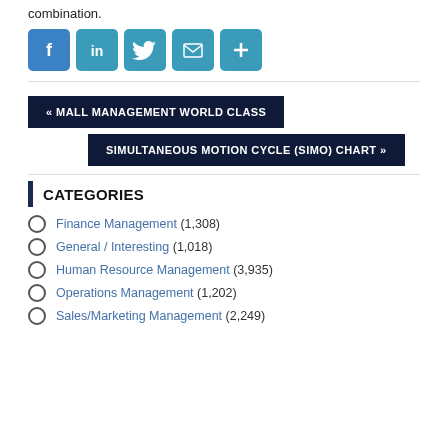combination.
[Figure (other): Social share icons: Facebook, LinkedIn, Twitter, Email, More (+)]
« MALL MANAGEMENT WORLD CLASS
SIMULTANEOUS MOTION CYCLE (SIMO) CHART »
CATEGORIES
Finance Management (1,308)
General / Interesting (1,018)
Human Resource Management (3,935)
Operations Management (1,202)
Sales/Marketing Management (2,249)